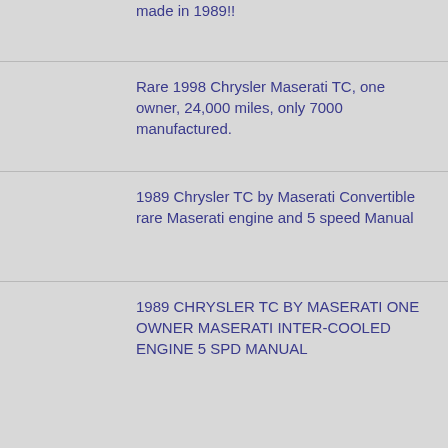made in 1989!!
Rare 1998 Chrysler Maserati TC, one owner, 24,000 miles, only 7000 manufactured.
1989 Chrysler TC by Maserati Convertible rare Maserati engine and 5 speed Manual
1989 CHRYSLER TC BY MASERATI ONE OWNER MASERATI INTER-COOLED ENGINE 5 SPD MANUAL